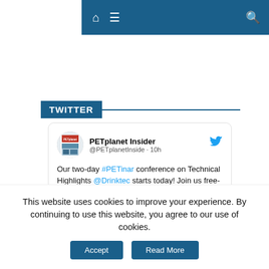[Figure (screenshot): Website navigation bar with dark blue background showing home icon, hamburger menu icon, and search icon on white background]
TWITTER
PETplanet Insider @PETplanetInside · 10h
Our two-day #PETinar conference on Technical Highlights @Drinktec starts today! Join us free-of-charge, from 2-3pm! News from #Bericap, #Sumitomo and #z-moulds! Exclusive talk with Petra Westphal, Exhibition Director of
This website uses cookies to improve your experience. By continuing to use this website, you agree to our use of cookies.